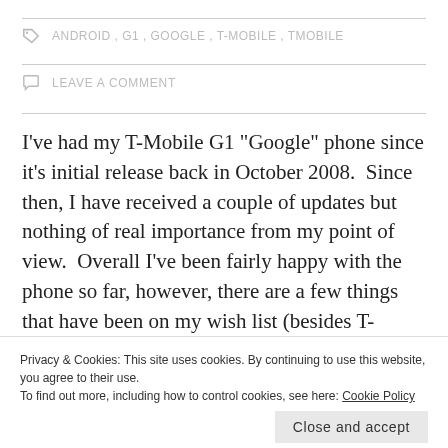ANDROID, G1, GOOGLE, T-MOBILE, TMOBILE
LEAVE A COMMENT
I've had my T-Mobile G1 “Google” phone since it’s initial release back in October 2008.  Since then, I have received a couple of updates but nothing of real importance from my point of view.  Overall I’ve been fairly happy with the phone so far, however, there are a few things that have been on my wish list (besides T-mobile 3g coverage in my area which still isn’t granted, I don’t buy a phone for the built-in camera.
Privacy & Cookies: This site uses cookies. By continuing to use this website, you agree to their use. To find out more, including how to control cookies, see here: Cookie Policy
Close and accept